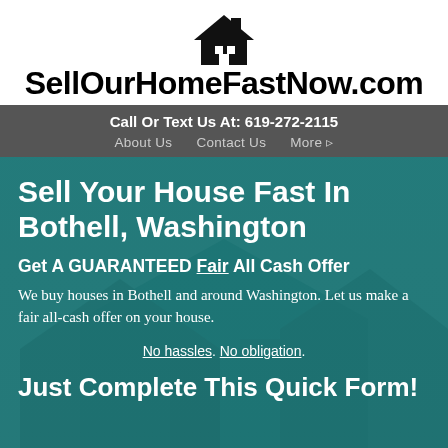[Figure (logo): House icon logo with text SellOurHomeFastNow.com]
Call Or Text Us At: 619-272-2115
About Us   Contact Us   More ▸
Sell Your House Fast In Bothell, Washington
Get A GUARANTEED Fair All Cash Offer
We buy houses in Bothell and around Washington. Let us make a fair all-cash offer on your house.
No hassles. No obligation.
Just Complete This Quick Form!